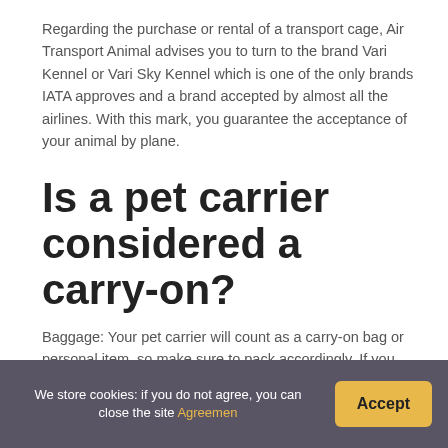Regarding the purchase or rental of a transport cage, Air Transport Animal advises you to turn to the brand Vari Kennel or Vari Sky Kennel which is one of the only brands IATA approves and a brand accepted by almost all the airlines. With this mark, you guarantee the acceptance of your animal by plane.
Is a pet carrier considered a carry-on?
Baggage: Your pet carrier will count as a carry-on bag or personal item, so make sure to pack accordingly. If you want to bring a carry-on and a
We store cookies: if you do not agree, you can close the site Agreemen  Accept